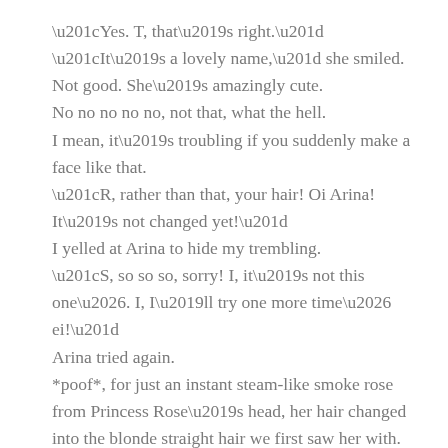“Yes. T, that’s right.”
“It’s a lovely name,” she smiled.
Not good. She’s amazingly cute.
No no no no no, not that, what the hell.
I mean, it’s troubling if you suddenly make a face like that.
“R, rather than that, your hair! Oi Arina! It’s not changed yet!”
I yelled at Arina to hide my trembling.
“S, so so so, sorry! I, it’s not this one…. I, I’ll try one more time… ei!”
Arina tried again.
*poof*, for just an instant steam-like smoke rose from Princess Rose’s head, her hair changed into the blonde straight hair we first saw her with.

It was a success.